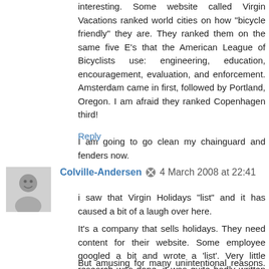interesting. Some website called Virgin Vacations ranked world cities on how "bicycle friendly" they are. They ranked them on the same five E's that the American League of Bicyclists use: engineering, education, encouragement, evaluation, and enforcement. Amsterdam came in first, followed by Portland, Oregon. I am afraid they ranked Copenhagen third!
I am going to go clean my chainguard and fenders now.
Reply
Colville-Andersen  4 March 2008 at 22:41
i saw that Virgin Holidays "list" and it has caused a bit of a laugh over here.
It's a company that sells holidays. They need content for their website. Some employee googled a bit and wrote a 'list'. Very little research was done, it was quite badly written and very brief.
But amusing for many unintentional reasons. :-)